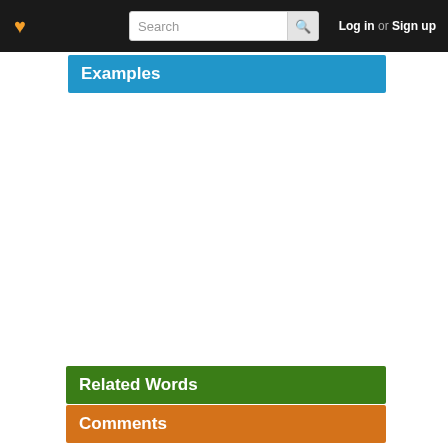Log in or Sign up
Examples
Related Words
Comments